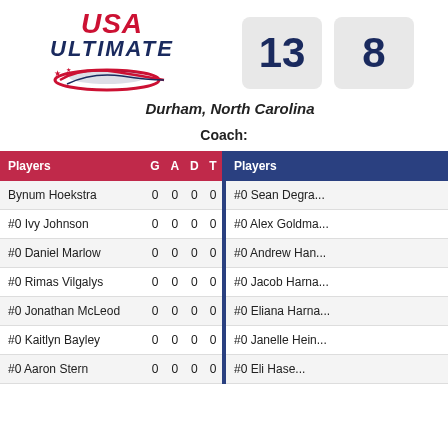[Figure (logo): USA Ultimate logo with red USA text, dark blue ULTIMATE text, and disc graphic]
13
8
Durham, North Carolina
Coach:
| Players | G | A | D | T |
| --- | --- | --- | --- | --- |
| Bynum Hoekstra | 0 | 0 | 0 | 0 |
| #0 Ivy Johnson | 0 | 0 | 0 | 0 |
| #0 Daniel Marlow | 0 | 0 | 0 | 0 |
| #0 Rimas Vilgalys | 0 | 0 | 0 | 0 |
| #0 Jonathan McLeod | 0 | 0 | 0 | 0 |
| #0 Kaitlyn Bayley | 0 | 0 | 0 | 0 |
| #0 Aaron Stern | 0 | 0 | 0 | 0 |
| Players | G | A | D | T |
| --- | --- | --- | --- | --- |
| #0 Sean Degra... | 0 | 0 | 0 | 0 |
| #0 Alex Goldma... | 0 | 0 | 0 | 0 |
| #0 Andrew Han... | 0 | 0 | 0 | 0 |
| #0 Jacob Harna... | 0 | 0 | 0 | 0 |
| #0 Eliana Harna... | 0 | 0 | 0 | 0 |
| #0 Janelle Hein... | 0 | 0 | 0 | 0 |
| #0 Eli Hase... | 0 | 0 | 0 | 0 |